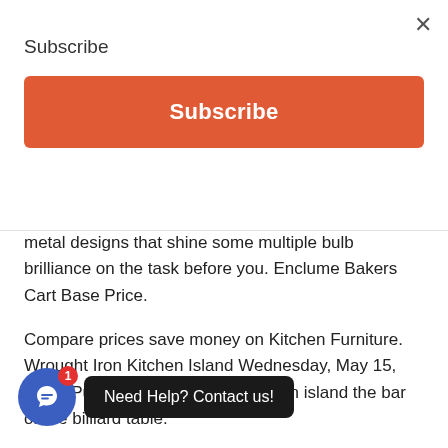Subscribe
Subscribe
metal designs that shine some multiple bulb brilliance on the task before you. Enclume Bakers Cart Base Price.
Compare prices save money on Kitchen Furniture. Wrought Iron Kitchen Island Wednesday, May 15, 2013. Put some focus on the kitchen island the bar or the billiard table.
Heat and moisture resistant – Wrought iron can withstand the heat and moisture where other materials like plastic or wood could not. A wrought iron kitchen island could be a good alternative to wooden kitchen islands in areas that suit the lifestyle. Wrought iron furniture. Kitchen Islands And Work Stations.
Need Help? Contact us!